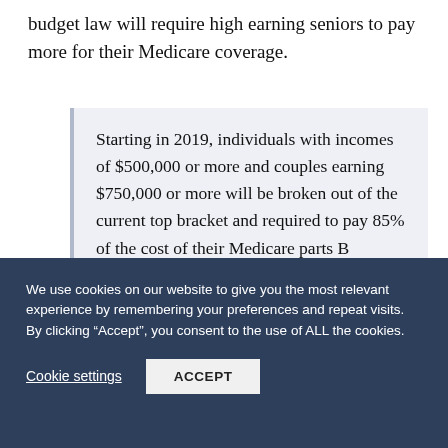budget law will require high earning seniors to pay more for their Medicare coverage.
Starting in 2019, individuals with incomes of $500,000 or more and couples earning $750,000 or more will be broken out of the current top bracket and required to pay 85% of the cost of their Medicare parts B
We use cookies on our website to give you the most relevant experience by remembering your preferences and repeat visits. By clicking “Accept”, you consent to the use of ALL the cookies.
Cookie settings
ACCEPT